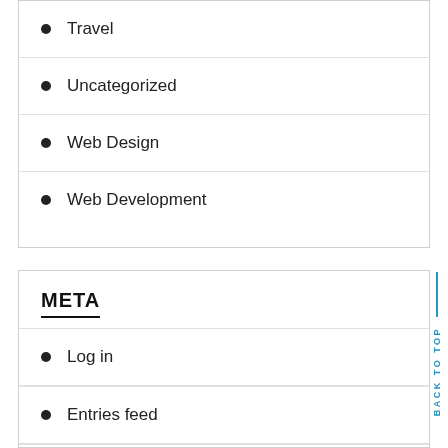Travel
Uncategorized
Web Design
Web Development
META
Log in
Entries feed